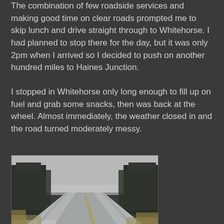The combination of few roadside services and making good time on clear roads prompted me to skip lunch and drive straight through to Whitehorse. I had planned to stop there for the day, but it was only 2pm when I arrived so I decided to push on another hundred miles to Haines Junction.
I stopped in Whitehorse only long enough to fill up on fuel and grab some snacks, then was back at the wheel. Almost immediately, the weather closed in and the road turned moderately messy.
[Figure (photo): A snowy, icy highway stretching into the distance flanked by dark conifer trees under an overcast grey sky. The road surface is covered in snow and ice.]
By the time I reached Haines Junction at 4pm, I'd been driving almost eight hours straight and was quite ready to stop. I covered a lot of ground today, in varied conditions and through mostly vast, uninhabited terrain. More than once I commented aloud to myself, "This is some road!"